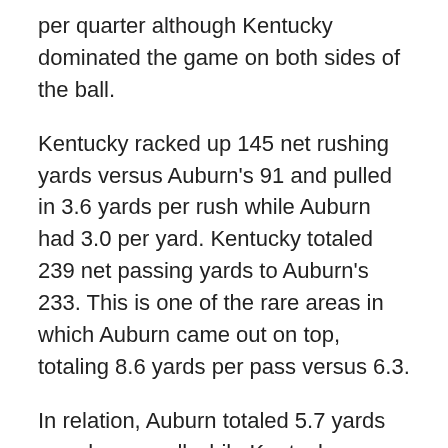per quarter although Kentucky dominated the game on both sides of the ball.
Kentucky racked up 145 net rushing yards versus Auburn's 91 and pulled in 3.6 yards per rush while Auburn had 3.0 per yard. Kentucky totaled 239 net passing yards to Auburn's 233. This is one of the rare areas in which Auburn came out on top, totaling 8.6 yards per pass versus 6.3.
In relation, Auburn totaled 5.7 yards per play overall while Kentucky totaled 4.9 yards per play.
Penalties hurt the Tigers, too. The team was charged with seven penalties for a total of 55 yards lost while Kentucky had four for 40 yards lost.
SATURDAY SCHEDULE